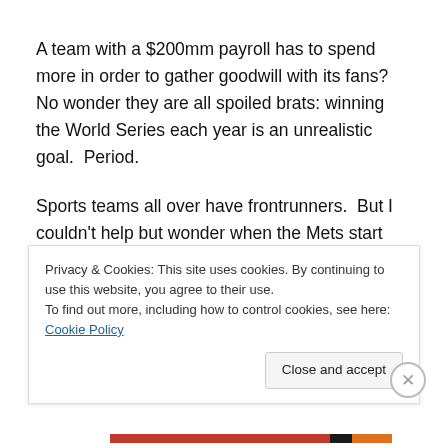A team with a $200mm payroll has to spend more in order to gather goodwill with its fans?  No wonder they are all spoiled brats: winning the World Series each year is an unrealistic goal.  Period.
Sports teams all over have frontrunners.  But I couldn't help but wonder when the Mets start winning, will all those annoying fans be ours?  I know that I'm not going anywhere, I know I'll have my season ticket package, will still follow them...
Privacy & Cookies: This site uses cookies. By continuing to use this website, you agree to their use.
To find out more, including how to control cookies, see here: Cookie Policy